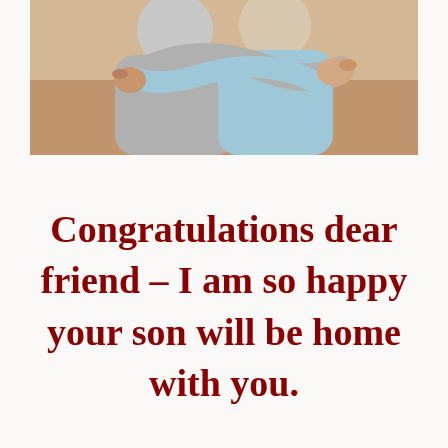[Figure (photo): Two people hugging each other, one in a gray hoodie and one in a light blue shirt, photographed from behind/side in a warm indoor setting.]
Congratulations dear friend – I am so happy your son will be home with you.